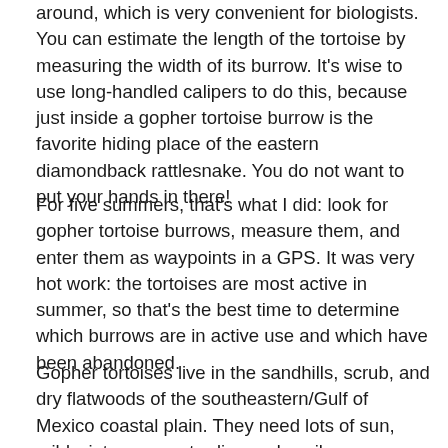around, which is very convenient for biologists. You can estimate the length of the tortoise by measuring the width of its burrow. It's wise to use long-handled calipers to do this, because just inside a gopher tortoise burrow is the favorite hiding place of the eastern diamondback rattlesnake. You do not want to put your hands in there!
For five summers, that's what I did: look for gopher tortoise burrows, measure them, and enter them as waypoints in a GPS. It was very hot work: the tortoises are most active in summer, so that's the best time to determine which burrows are in active use and which have been abandoned.
Gopher tortoises live in the sandhills, scrub, and dry flatwoods of the southeastern/Gulf of Mexico coastal plain. They need lots of sun, mild winters, easy-to-dig sandy soil,